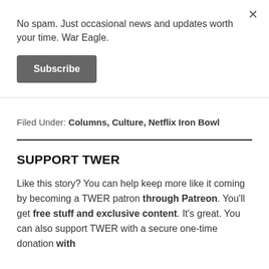No spam. Just occasional news and updates worth your time. War Eagle.
Subscribe
Filed Under: Columns, Culture, Netflix Iron Bowl
SUPPORT TWER
Like this story? You can help keep more like it coming by becoming a TWER patron through Patreon. You'll get free stuff and exclusive content. It's great. You can also support TWER with a secure one-time donation with